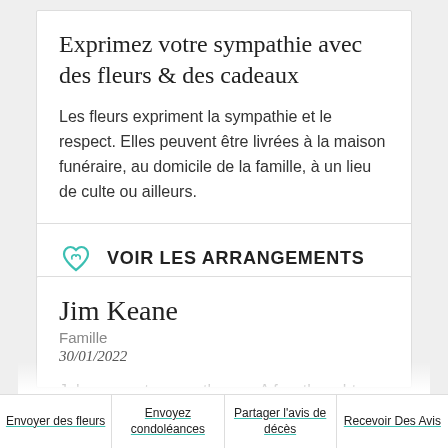Exprimez votre sympathie avec des fleurs & des cadeaux
Les fleurs expriment la sympathie et le respect. Elles peuvent être livrées à la maison funéraire, au domicile de la famille, à un lieu de culte ou ailleurs.
VOIR LES ARRANGEMENTS
Jim Keane
Famille
30/01/2022
John was a true gentleman. A few thoughts come to
Envoyer des fleurs | Envoyez condoléances | Partager l'avis de décès | Recevoir Des Avis